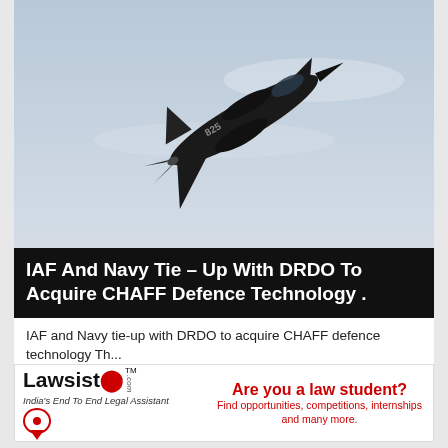[Figure (photo): Military jet aircraft (fighter jet with number 825) photographed from below against a pale blue-grey sky, banking sharply.]
IAF And Navy Tie – Up With DRDO To Acquire CHAFF Defence Technology .
IAF and Navy tie-up with DRDO to acquire CHAFF defence technology Th...
442 views   23 Apr 2022
[Figure (logo): Lawsisto advertisement banner. Lawsisto logo on the left with tagline 'India's End To End Legal Assistant'. Right side reads 'Are you a law student? Find opportunities, competitions, internships and many more.' in red text.]